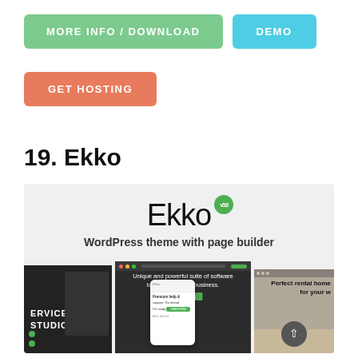[Figure (screenshot): Green button labeled MORE INFO / DOWNLOAD and cyan button labeled DEMO]
[Figure (screenshot): Salmon/orange button labeled GET HOSTING]
19. Ekko
[Figure (screenshot): Ekko WordPress theme promotional screenshot showing the Ekko logo with green badge, subtitle 'WordPress theme with page builder', and multiple device/layout mockups below]